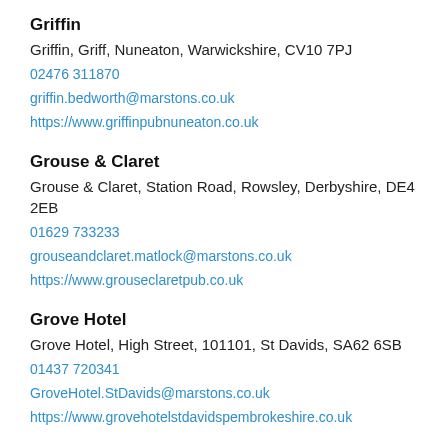Griffin
Griffin, Griff, Nuneaton, Warwickshire, CV10 7PJ
02476 311870
griffin.bedworth@marstons.co.uk
https://www.griffinpubnuneaton.co.uk
Grouse & Claret
Grouse & Claret, Station Road, Rowsley, Derbyshire, DE4 2EB
01629 733233
grouseandclaret.matlock@marstons.co.uk
https://www.grouseclaretpub.co.uk
Grove Hotel
Grove Hotel, High Street, 101101, St Davids, SA62 6SB
01437 720341
GroveHotel.StDavids@marstons.co.uk
https://www.grovehotelstdavidspembrokeshire.co.uk